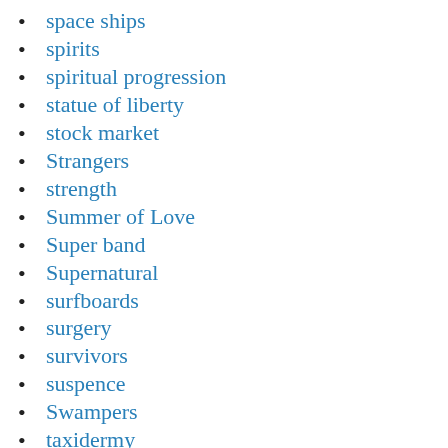space ships
spirits
spiritual progression
statue of liberty
stock market
Strangers
strength
Summer of Love
Super band
Supernatural
surfboards
surgery
survivors
suspence
Swampers
taxidermy